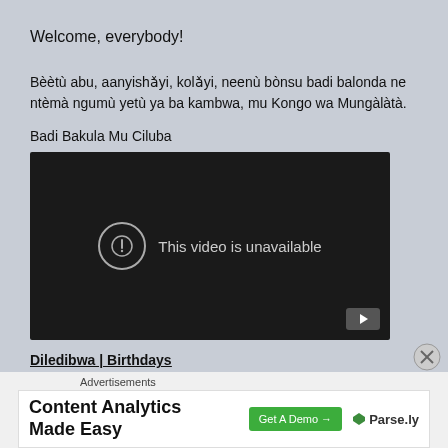Welcome, everybody!
Bèètù abu, aanyishǎyi, kolǎyi, neenù bònsu badi balonda ne ntèmà ngumù yetù ya ba kambwa, mu Kongo wa Mungàlàtà.
Badi Bakula Mu Ciluba
[Figure (screenshot): Embedded YouTube video player showing 'This video is unavailable' message with an error icon and YouTube play button in the bottom-right corner.]
Diledibwa | Birthdays
4 mars 1950 - Kabasu Babo
5 mars 1943 - Crispin Mulumba Lukoji
5 mars 1996 - Emmanuel Mudiay
Advertisements
[Figure (screenshot): Advertisement banner: 'Content Analytics Made Easy' with a green 'Get A Demo →' button and Parse.ly logo.]